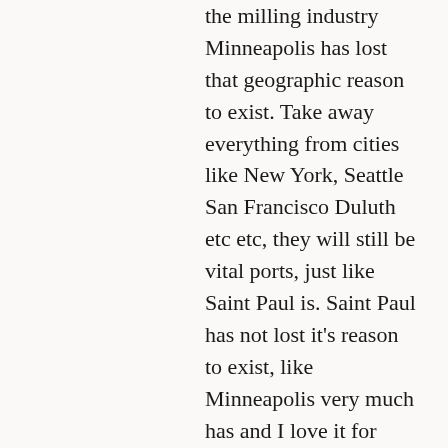the milling industry Minneapolis has lost that geographic reason to exist. Take away everything from cities like New York, Seattle San Francisco Duluth etc etc, they will still be vital ports, just like Saint Paul is. Saint Paul has not lost it's reason to exist, like Minneapolis very much has and I love it for that. It's why you can see why Saint Paul was and should've continued to be, the major city of the region, not Minneapolis. It still is the headwaters of navigation of the greatest river on the continent and thus very much maintains its reason to exist.